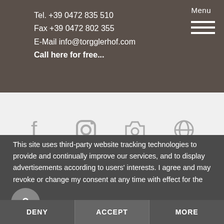Tel. +39 0472 835 510
Fax +39 0472 802 355
E-Mail info@torgglerhof.com
Call here for free...
Menu
[Figure (other): Social media icons: Facebook, Instagram, camera/photo, and another social icon shown in gray]
This site uses third-party website tracking technologies to provide and continually improve our services, and to display advertisements according to users' interests. I agree and may revoke or change my consent at any time with effect for the f
[Figure (other): Small circular icon with a lock/key symbol]
DENY
ACCEPT
MORE